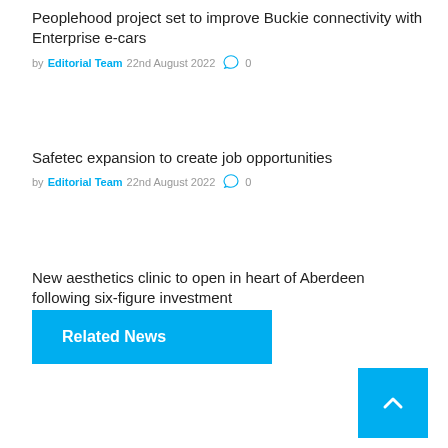Peoplehood project set to improve Buckie connectivity with Enterprise e-cars
by Editorial Team  22nd August 2022  0
Safetec expansion to create job opportunities
by Editorial Team  22nd August 2022  0
New aesthetics clinic to open in heart of Aberdeen following six-figure investment
by Editorial Team  22nd August 2022  0
Related News